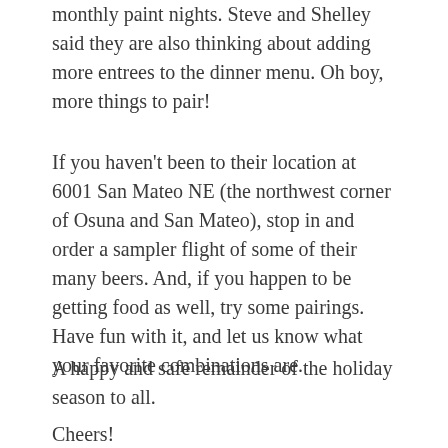monthly paint nights. Steve and Shelley said they are also thinking about adding more entrees to the dinner menu. Oh boy, more things to pair!
If you haven't been to their location at 6001 San Mateo NE (the northwest corner of Osuna and San Mateo), stop in and order a sampler flight of some of their many beers. And, if you happen to be getting food as well, try some pairings. Have fun with it, and let us know what your favorite combinations are.
A happy and safe remainder of the holiday season to all.
Cheers!